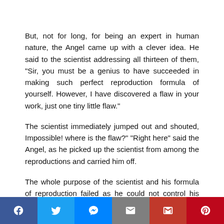But, not for long, for being an expert in human nature, the Angel came up with a clever idea. He said to the scientist addressing all thirteen of them, "Sir, you must be a genius to have succeeded in making such perfect reproduction formula of yourself. However, I have discovered a flaw in your work, just one tiny little flaw."
The scientist immediately jumped out and shouted, Impossible! where is the flaw?" "Right here" said the Angel, as he picked up the scientist from among the reproductions and carried him off.
The whole purpose of the scientist and his formula of reproduction failed as he could not control his pride and lost his life.
[Figure (infographic): Social media share bar with icons for Facebook, Twitter, Messenger, Email, Gmail, and Pinterest]